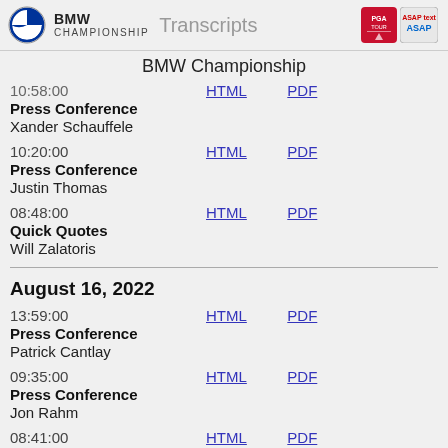BMW Championship Transcripts
BMW Championship
10:58:00 Press Conference Xander Schauffele HTML PDF
10:20:00 Press Conference Justin Thomas HTML PDF
08:48:00 Quick Quotes Will Zalatoris HTML PDF
August 16, 2022
13:59:00 Press Conference Patrick Cantlay HTML PDF
09:35:00 Press Conference Jon Rahm HTML PDF
08:41:00 Press Conference (truncated)